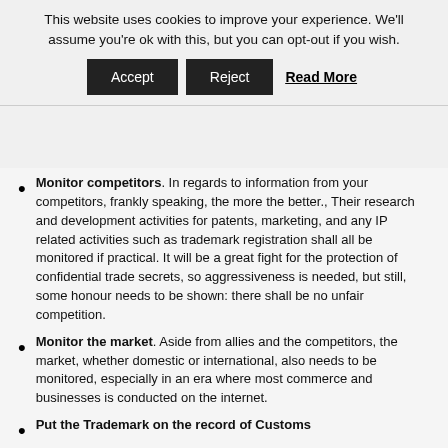This website uses cookies to improve your experience. We'll assume you're ok with this, but you can opt-out if you wish.
Accept | Reject | Read More
Monitor competitors. In regards to information from your competitors, frankly speaking, the more the better., Their research and development activities for patents, marketing, and any IP related activities such as trademark registration shall all be monitored if practical. It will be a great fight for the protection of confidential trade secrets, so aggressiveness is needed, but still, some honour needs to be shown: there shall be no unfair competition.
Monitor the market. Aside from allies and the competitors, the market, whether domestic or international, also needs to be monitored, especially in an era where most commerce and businesses is conducted on the internet.
Put the Trademark on the record of Customs